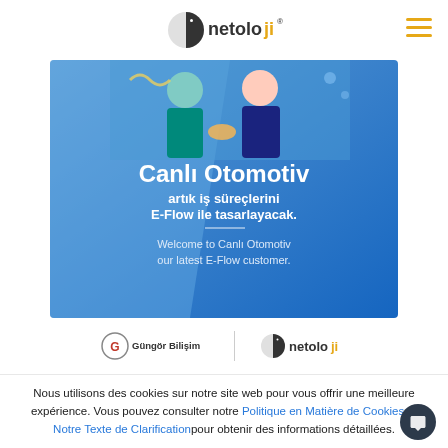netoloji logo and navigation
[Figure (illustration): Banner image showing 'Canlı Otomotiv artık iş süreçlerini E-Flow ile tasarlayacak.' and 'Welcome to Canlı Otomotiv our latest E-Flow customer.' on a blue gradient background with business people illustration]
[Figure (logo): Güngör Bilişim and netoloji partner logos]
Nous utilisons des cookies sur notre site web pour vous offrir une meilleure expérience. Vous pouvez consulter notre Politique en Matière de Cookies et Notre Texte de Clarificationpour obtenir des informations détaillées.
Accepter | Refuser